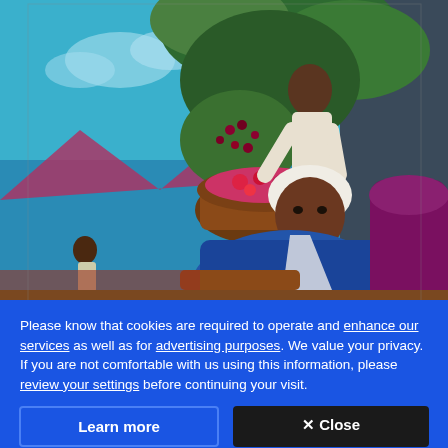[Figure (illustration): Colorful painted illustration showing African American figures harvesting crops. A woman in a blue garment sits in the foreground wearing a white head covering, looking at the viewer. Behind her, a man in white clothing picks berries or fruit from a bush into a basket. In the background left, another figure works in the field. The scene has vivid colors including teal sky, red mountains, and lush green foliage.]
Please know that cookies are required to operate and enhance our services as well as for advertising purposes. We value your privacy. If you are not comfortable with us using this information, please review your settings before continuing your visit.
Learn more
✕ Close